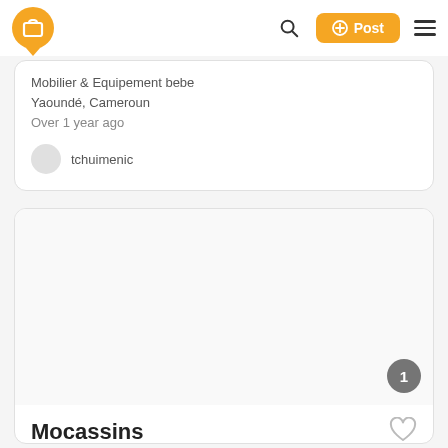Mobilier & Equipement bebe | Yaoundé, Cameroun | Over 1 year ago | tchuimenic
Mobilier & Equipement bebe
Yaoundé, Cameroun
Over 1 year ago
tchuimenic
[Figure (photo): Product listing image area (blank/white), with a grey circular badge showing the number 1 in the bottom-right corner]
Mocassins